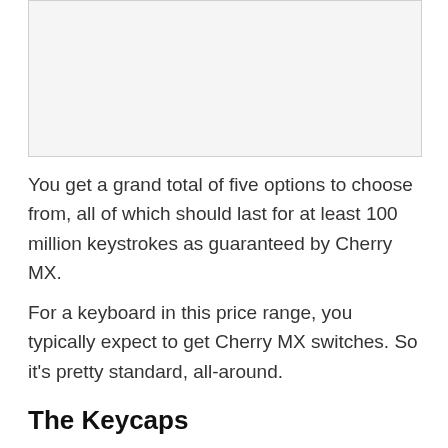[Figure (photo): Image placeholder showing a keyboard or keycap photo (content not visible)]
You get a grand total of five options to choose from, all of which should last for at least 100 million keystrokes as guaranteed by Cherry MX.
For a keyboard in this price range, you typically expect to get Cherry MX switches. So it's pretty standard, all-around.
The Keycaps